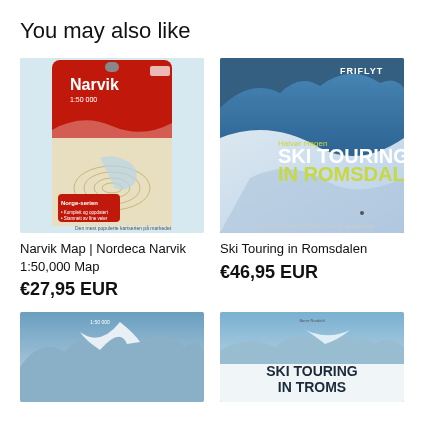You may also like
[Figure (photo): Narvik Map | Nordeca Narvik 1:50,000 map product packaging — red map package with topographic map visible]
Narvik Map | Nordeca Narvik 1:50,000 Map
€27,95 EUR
[Figure (photo): Book cover: Ski Touring in Romsdalen by Halvør Hagen — blue snowy mountain scene with skier]
Ski Touring in Romsdalen
€46,95 EUR
[Figure (photo): Bottom left product — mountain landscape cover, partially visible]
[Figure (photo): Bottom right product — Ski Touring in Troms book cover, partially visible]